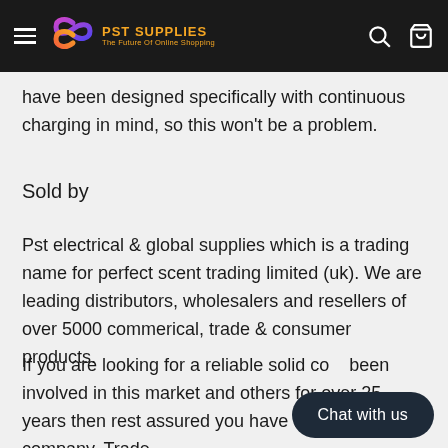PST SUPPLIES — The Future Of Online Shopping
have been designed specifically with continuous charging in mind, so this won't be a problem.
Sold by
Pst electrical & global supplies which is a trading name for perfect scent trading limited (uk). We are leading distributors, wholesalers and resellers of over 5000 commerical, trade & consumer products.
If you are looking for a reliable solid co... been involved in this market and others for over 25 years then rest assured you have the right company. Trade